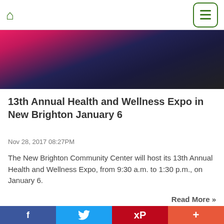Home | Menu
[Figure (photo): Partial photo showing person in pink clothing against dark background, cropped at top of page]
13th Annual Health and Wellness Expo in New Brighton January 6
Nov 28, 2017 08:27PM
The New Brighton Community Center will host its 13th Annual Health and Wellness Expo, from 9:30 a.m. to 1:30 p.m., on January 6.
Read More »
[Figure (photo): Partial photo showing top of a person's head with brown hair, cropped at bottom of page]
f  Twitter  P  +